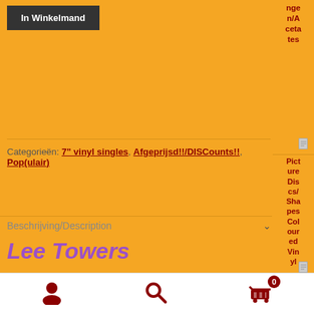In Winkelmand
Categorieën: 7" vinyl singles, Afgeprijsd!!/DISCounts!!, Pop(ulair)
ngen/Acetates
[Figure (illustration): Document/page icon]
Picture Discs/Shapes Coloured Vinyl
Beschrijving/Description
Lee Towers
[Figure (illustration): Document/page icon]
Flexi-disc
[Figure (illustration): User icon (account)]
[Figure (illustration): Search icon (magnifying glass)]
[Figure (illustration): Shopping cart icon with badge showing 0]